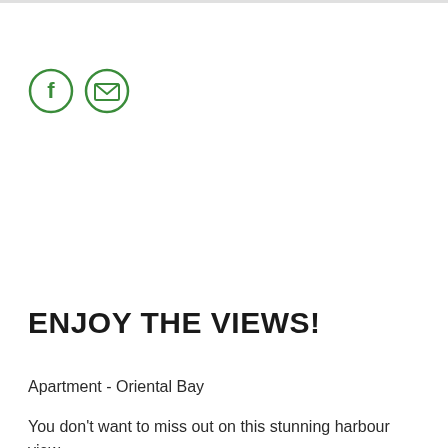[Figure (logo): Two circular green-outlined social media icons: a Facebook icon (letter f) and an email/envelope icon, side by side]
ENJOY THE VIEWS!
Apartment - Oriental Bay
You don't want to miss out on this stunning harbour view